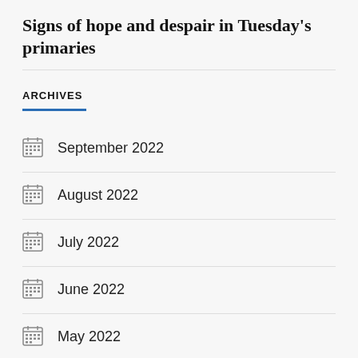Signs of hope and despair in Tuesday's primaries
ARCHIVES
September 2022
August 2022
July 2022
June 2022
May 2022